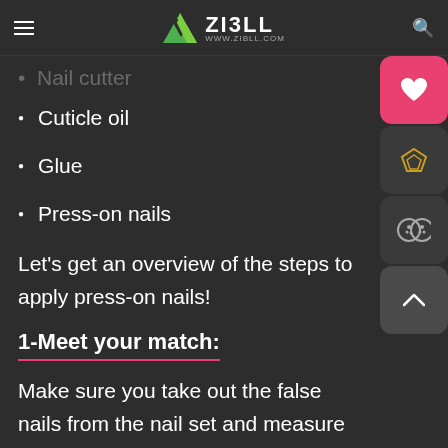ZIBLL — www.zibll.com
Nail cutter
Cuticle oil
Glue
Press-on nails
Let's get an overview of the steps to apply press-on nails!
1-Meet your match:
Make sure you take out the false nails from the nail set and measure them on your fingers to make sure they fit your different fingernails.